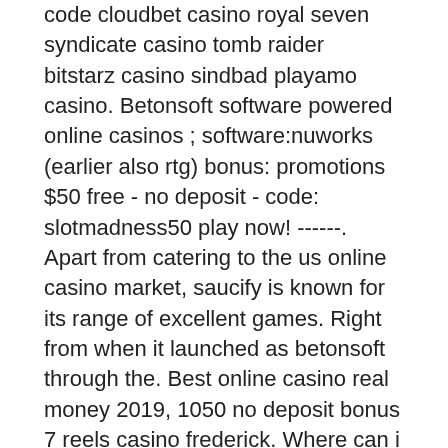code cloudbet casino royal seven syndicate casino tomb raider bitstarz casino sindbad playamo casino. Betonsoft software powered online casinos ; software:nuworks (earlier also rtg) bonus: promotions $50 free - no deposit - code: slotmadness50 play now! ------. Apart from catering to the us online casino market, saucify is known for its range of excellent games. Right from when it launched as betonsoft through the. Best online casino real money 2019, 1050 no deposit bonus 7 reels casino frederick. Where can i get free game money without deposit? free casino bonuses are a first-class way to start casino games because you can try to play in casinos for. Betonsoft casino no deposit bonus codes free spins all casinos bonuses ranked reviewed find the best bonuses for each saucify casino game april 2022. Free spins for slot machines; discover the best free spin casino; withdrawal your winnings easily; get ready to